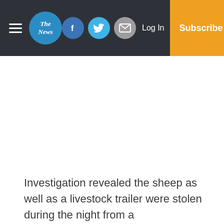The News — Log In | Subscribe
Investigation revealed the sheep as well as a livestock trailer were stolen during the night from a